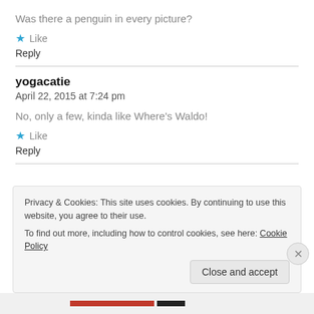Was there a penguin in every picture?
Like
Reply
yogacatie
April 22, 2015 at 7:24 pm
No, only a few, kinda like Where's Waldo!
Like
Reply
Privacy & Cookies: This site uses cookies. By continuing to use this website, you agree to their use.
To find out more, including how to control cookies, see here: Cookie Policy
Close and accept